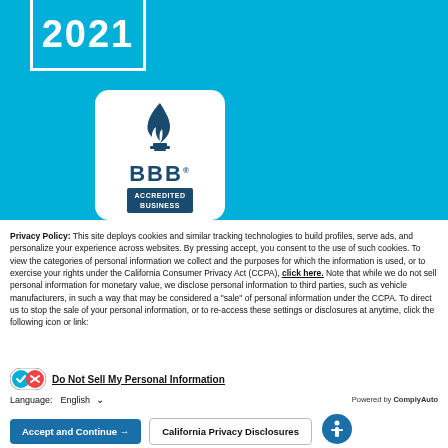[Figure (logo): Year badge showing '2021' with white border on blue background]
[Figure (logo): BBB Accredited Business logo with flame icon on white rounded rectangle background]
Privacy Policy: This site deploys cookies and similar tracking technologies to build profiles, serve ads, and personalize your experience across websites. By pressing accept, you consent to the use of such cookies. To view the categories of personal information we collect and the purposes for which the information is used, or to exercise your rights under the California Consumer Privacy Act (CCPA), click here. Note that while we do not sell personal information for monetary value, we disclose personal information to third parties, such as vehicle manufacturers, in such a way that may be considered a "sale" of personal information under the CCPA. To direct us to stop the sale of your personal information, or to re-access these settings or disclosures at anytime, click the following icon or link:
[Figure (logo): Do Not Sell icon with checkmark and X]
Do Not Sell My Personal Information
Language:  English  ∨
Powered by ComplyAuto
Accept and Continue →
California Privacy Disclosures